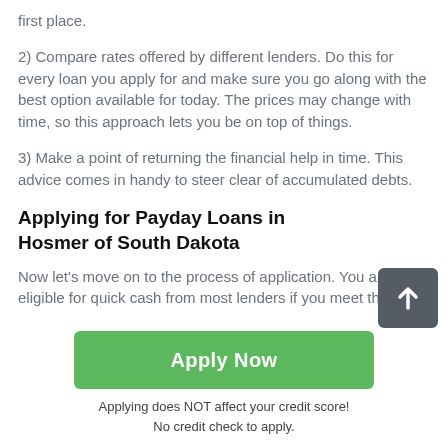first place.
2) Compare rates offered by different lenders. Do this for every loan you apply for and make sure you go along with the best option available for today. The prices may change with time, so this approach lets you be on top of things.
3) Make a point of returning the financial help in time. This advice comes in handy to steer clear of accumulated debts.
Applying for Payday Loans in Hosmer of South Dakota
Now let's move on to the process of application. You are eligible for quick cash from most lenders if you meet the
Apply Now
Applying does NOT affect your credit score!
No credit check to apply.